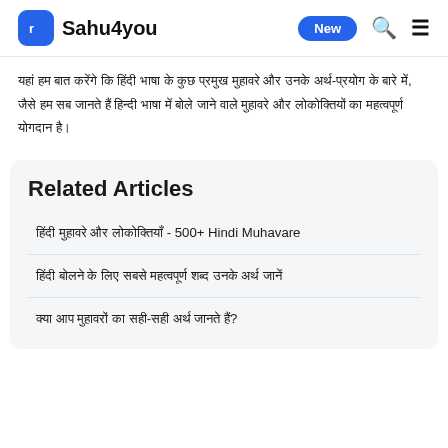Sahu4you — New
यहां हम बात करेंगे कि हिंदी भाषा के कुछ प्रमुख मुहावरे और उनके अर्थ-प्रयोग के बारे में, जैसे हम सब जानते हैं हिन्दी भाषा में बोले जाने वाले मुहावरे और लोकोक्तियों का महत्वपूर्ण योगदान है।
Related Articles
हिंदी मुहावरे और उनके अर्थ-प्रयोग - 500+ Hindi Muhavare
हिंदी बोलने के लिए सबसे महत्वपूर्ण शब्द उनके अर्थ जानें
क्या आप मुहावरों का सही-सही अर्थ जानते हैं?